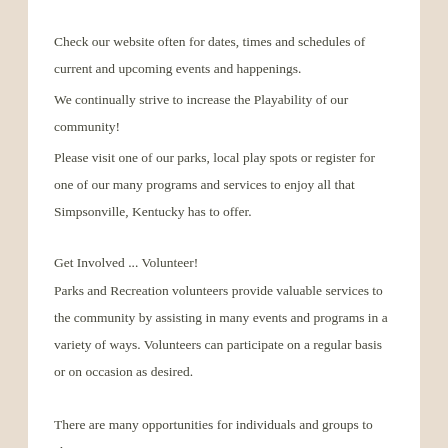Check our website often for dates, times and schedules of current and upcoming events and happenings.
We continually strive to increase the Playability of our community!
Please visit one of our parks, local play spots or register for one of our many programs and services to enjoy all that Simpsonville, Kentucky has to offer.
Get Involved ... Volunteer!
Parks and Recreation volunteers provide valuable services to the community by assisting in many events and programs in a variety of ways. Volunteers can participate on a regular basis or on occasion as desired.
There are many opportunities for individuals and groups to choose